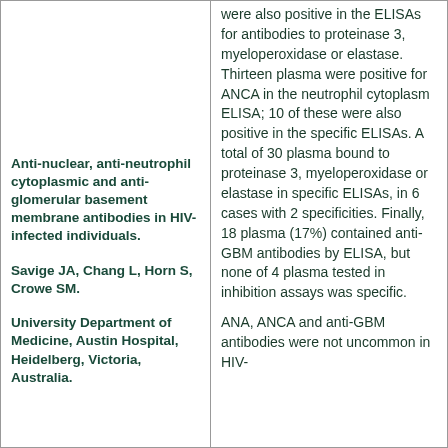Anti-nuclear, anti-neutrophil cytoplasmic and anti-glomerular basement membrane antibodies in HIV-infected individuals.
Savige JA, Chang L, Horn S, Crowe SM.
University Department of Medicine, Austin Hospital, Heidelberg, Victoria, Australia.
were also positive in the ELISAs for antibodies to proteinase 3, myeloperoxidase or elastase. Thirteen plasma were positive for ANCA in the neutrophil cytoplasm ELISA; 10 of these were also positive in the specific ELISAs. A total of 30 plasma bound to proteinase 3, myeloperoxidase or elastase in specific ELISAs, in 6 cases with 2 specificities. Finally, 18 plasma (17%) contained anti-GBM antibodies by ELISA, but none of 4 plasma tested in inhibition assays was specific.
ANA, ANCA and anti-GBM antibodies were not uncommon in HIV-